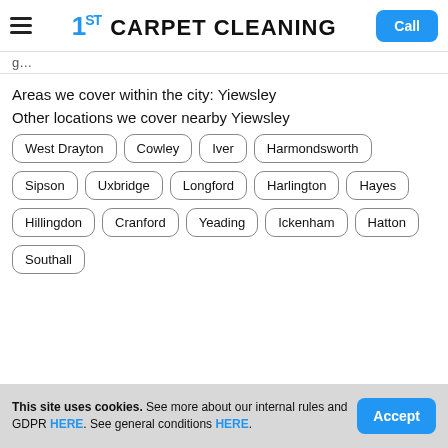1ST CARPET CLEANING — Call
g…
Areas we cover within the city: Yiewsley
Other locations we cover nearby Yiewsley
West Drayton
Cowley
Iver
Harmondsworth
Sipson
Uxbridge
Longford
Harlington
Hayes
Hillingdon
Cranford
Yeading
Ickenham
Hatton
Southall
This site uses cookies. See more about our internal rules and GDPR HERE. See general conditions HERE.